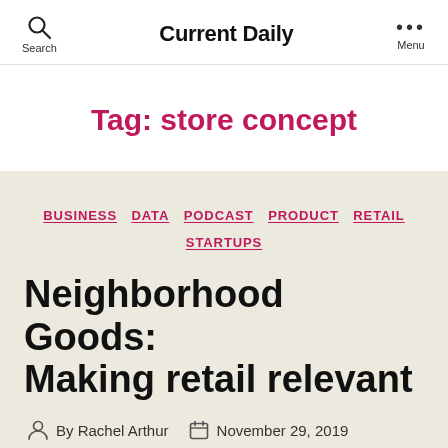Current Daily
Tag: store concept
BUSINESS  DATA  PODCAST  PRODUCT  RETAIL  STARTUPS
Neighborhood Goods: Making retail relevant
By Rachel Arthur  November 29, 2019